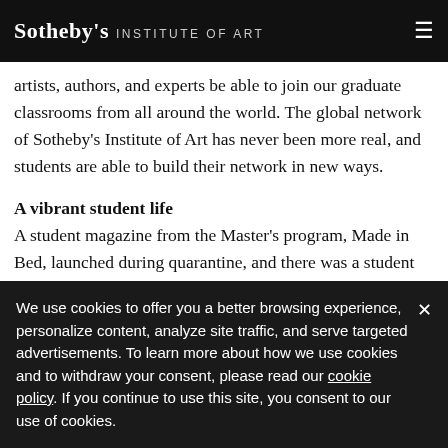Sotheby's INSTITUTE OF ART
artists, authors, and experts be able to join our graduate classrooms from all around the world. The global network of Sotheby's Institute of Art has never been more real, and students are able to build their network in new ways.
A vibrant student life
A student magazine from the Master's program, Made in Bed, launched during quarantine, and there was a student takeover of Photo London in the summer. Even
We use cookies to offer you a better browsing experience, personalize content, analyze site traffic, and serve targeted advertisements. To learn more about how we use cookies and to withdraw your consent, please read our cookie policy. If you continue to use this site, you consent to our use of cookies.